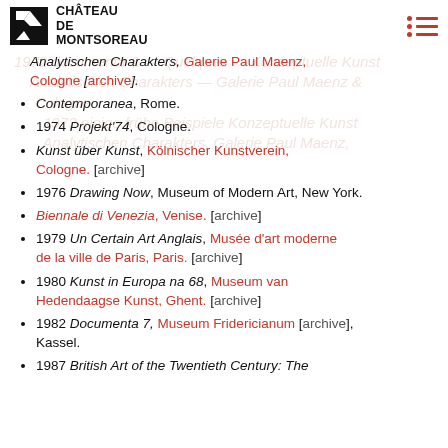Château de Montsoreau
Analytischen Charakters, Galerie Paul Maenz, Cologne [archive].
Contemporanea, Rome.
1974 Projekt'74, Cologne.
Kunst über Kunst, Kölnischer Kunstverein, Cologne. [archive]
1976 Drawing Now, Museum of Modern Art, New York.
Biennale di Venezia, Venise. [archive]
1979 Un Certain Art Anglais, Musée d'art moderne de la ville de Paris, Paris. [archive]
1980 Kunst in Europa na 68, Museum van Hedendaagse Kunst, Ghent. [archive]
1982 Documenta 7, Museum Fridericianum [archive], Kassel.
1987 British Art of the Twentieth Century: The